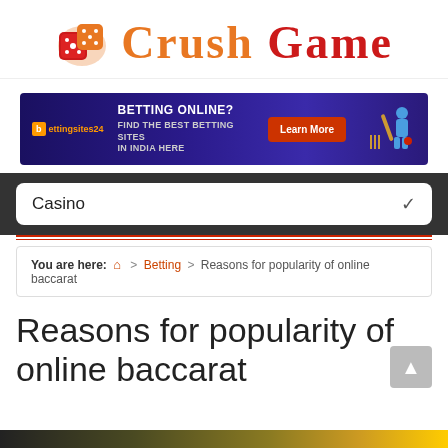[Figure (logo): Crush Game website logo with dice icon and stylized orange/red text]
[Figure (infographic): Betting online ad banner for bettingsites24 with cricket player graphic, text 'BETTING ONLINE? FIND THE BEST BETTING SITES IN INDIA HERE' and 'Learn More' button]
Casino
You are here: 🏠 > Betting > Reasons for popularity of online baccarat
Reasons for popularity of online baccarat